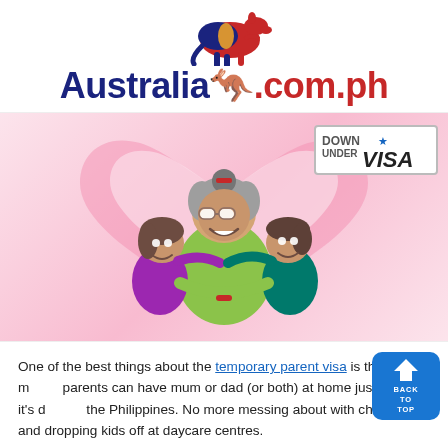[Figure (logo): Australia.com.ph logo with a kangaroo silhouette in red above the text 'Australia.com.ph' in dark blue and red]
[Figure (illustration): Cartoon illustration of an elderly grandmother with glasses and grey hair hugging two children (a girl on the left and a boy on the right) against a pink heart background. A 'Down Under Visa' badge is in the top right corner.]
One of the best things about the temporary parent visa is that it means parents can have mum or dad (or both) at home just like how it's done in the Philippines. No more messing about with child care and dropping kids off at daycare centres.